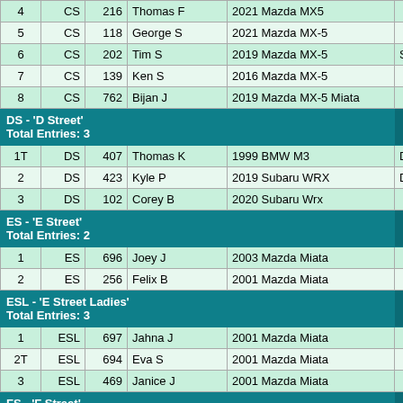| Pos | Class | Num | Name | Car | Club |
| --- | --- | --- | --- | --- | --- |
| 4 | CS | 216 | Thomas F | 2021 Mazda MX5 |  |
| 5 | CS | 118 | George S | 2021 Mazda MX-5 |  |
| 6 | CS | 202 | Tim S | 2019 Mazda MX-5 | SCNA |
| 7 | CS | 139 | Ken S | 2016 Mazda MX-5 |  |
| 8 | CS | 762 | Bijan J | 2019 Mazda MX-5 Miata |  |
| DS - 'D Street' Total Entries: 3 |  |  |  |  | Club |
| 1T | DS | 407 | Thomas K | 1999 BMW M3 | DCCS |
| 2 | DS | 423 | Kyle P | 2019 Subaru WRX | DCCS |
| 3 | DS | 102 | Corey B | 2020 Subaru Wrx |  |
| ES - 'E Street' Total Entries: 2 |  |  |  |  | Club |
| 1 | ES | 696 | Joey J | 2003 Mazda Miata |  |
| 2 | ES | 256 | Felix B | 2001 Mazda Miata |  |
| ESL - 'E Street Ladies' Total Entries: 3 |  |  |  |  | Club |
| 1 | ESL | 697 | Jahna J | 2001 Mazda Miata |  |
| 2T | ESL | 694 | Eva S | 2001 Mazda Miata |  |
| 3 | ESL | 469 | Janice J | 2001 Mazda Miata |  |
| FS - 'F Street' Total Entries: 2 |  |  |  |  | Club |
| 1 | FS | 3 | Hank Y | 2016 Ford Mustang | SCNA |